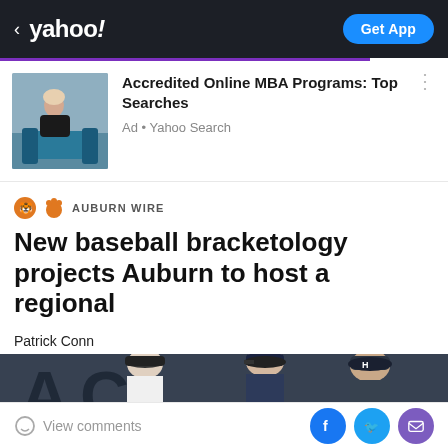< yahoo!  Get App
[Figure (photo): Advertisement banner with photo of woman sitting on blue chair]
Accredited Online MBA Programs: Top Searches
Ad • Yahoo Search
AUBURN WIRE
New baseball bracketology projects Auburn to host a regional
Patrick Conn
May 27, 2022  ·  1 min read
[Figure (photo): Baseball players/coaches in dugout wearing caps]
View comments  [Facebook] [Twitter] [Email]